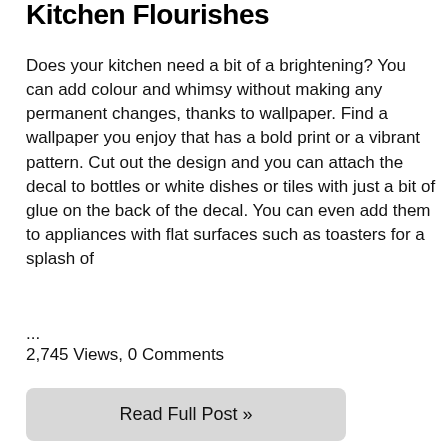Kitchen Flourishes
Does your kitchen need a bit of a brightening? You can add colour and whimsy without making any permanent changes, thanks to wallpaper. Find a wallpaper you enjoy that has a bold print or a vibrant pattern. Cut out the design and you can attach the decal to bottles or white dishes or tiles with just a bit of glue on the back of the decal. You can even add them to appliances with flat surfaces such as toasters for a splash of
...
2,745 Views, 0 Comments
Read Full Post »